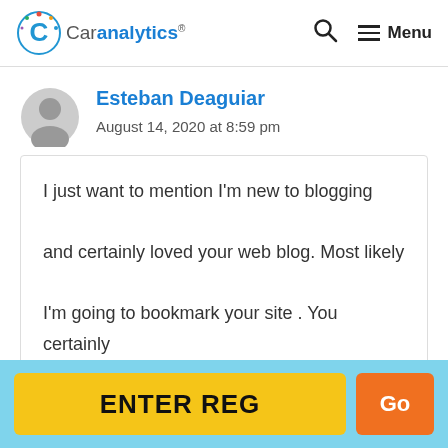Caranalytics® — Search — Menu
Esteban Deaguiar
August 14, 2020 at 8:59 pm
I just want to mention I'm new to blogging and certainly loved your web blog. Most likely I'm going to bookmark your site . You certainly
ENTER REG — Go